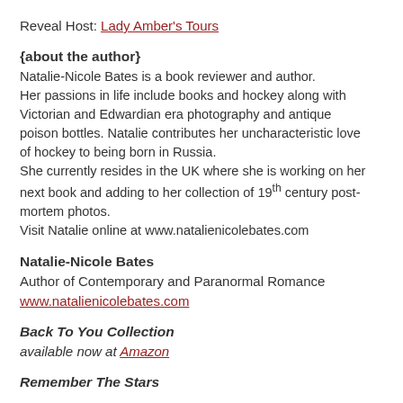Reveal Host: Lady Amber's Tours
{about the author}
Natalie-Nicole Bates is a book reviewer and author. Her passions in life include books and hockey along with Victorian and Edwardian era photography and antique poison bottles. Natalie contributes her uncharacteristic love of hockey to being born in Russia. She currently resides in the UK where she is working on her next book and adding to her collection of 19th century post-mortem photos. Visit Natalie online at www.natalienicolebates.com
Natalie-Nicole Bates
Author of Contemporary and Paranormal Romance
www.natalienicolebates.com
Back To You Collection
available now at Amazon
Remember The Stars